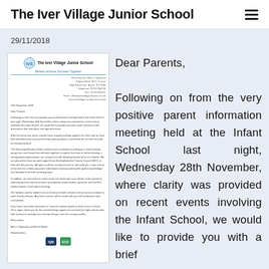The Iver Village Junior School
29/11/2018
[Figure (illustration): Thumbnail of a school letter from The Iver Village Junior School dated 29th November 2018, addressed to Dear Parents, with school logo, address, body paragraphs, and footer logos.]
Dear Parents,
Following on from the very positive parent information meeting held at the Infant School last night, Wednesday 28th November, where clarity was provided on recent events involving the Infant School, we would like to provide you with a brief